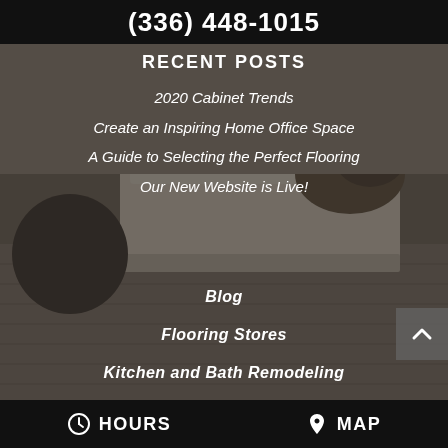(336) 448-1015
RECENT POSTS
2020 Cabinet Trends
Create an Inspiring Home Office Space
A Guide to Selecting the Perfect Flooring
Our New Website is Live!
Blog
Flooring Stores
Kitchen and Bath Remodeling
HOURS   MAP